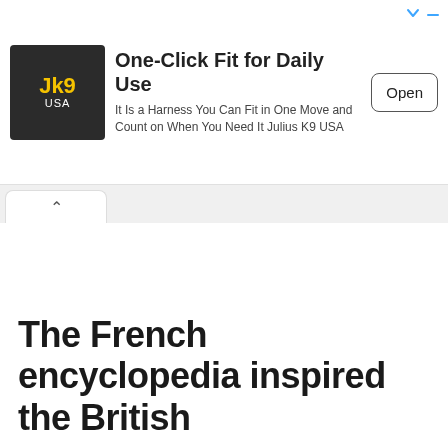[Figure (screenshot): Advertisement banner for Julius K9 USA dog harness. Dark square logo with 'Jk9 USA' in yellow text on left. Headline: 'One-Click Fit for Daily Use'. Body: 'It Is a Harness You Can Fit in One Move and Count on When You Need It Julius K9 USA'. Open button on right.]
The French encyclopedia inspired the British